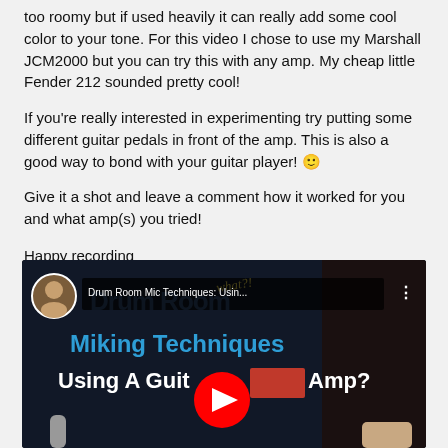too roomy but if used heavily it can really add some cool color to your tone. For this video I chose to use my Marshall JCM2000 but you can try this with any amp. My cheap little Fender 212 sounded pretty cool!
If you're really interested in experimenting try putting some different guitar pedals in front of the amp. This is also a good way to bond with your guitar player! 🙂
Give it a shot and leave a comment how it worked for you and what amp(s) you tried!
Happy recording
Charlie
[Figure (screenshot): YouTube video thumbnail for 'Drum Room Mic Techniques: Usin...' showing text 'Miking Techniques' in blue and 'Using A Guitar Amp?' in white on a dark background, with YouTube play button overlay, circular avatar of host, and video title bar.]